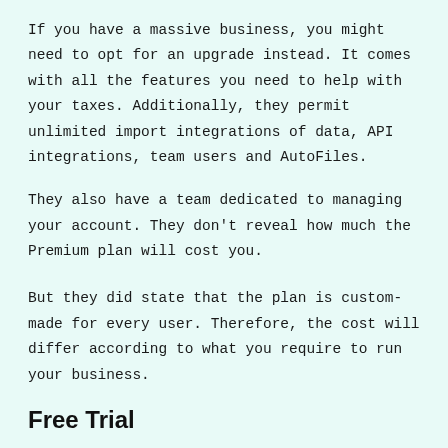If you have a massive business, you might need to opt for an upgrade instead. It comes with all the features you need to help with your taxes. Additionally, they permit unlimited import integrations of data, API integrations, team users and AutoFiles.
They also have a team dedicated to managing your account. They don't reveal how much the Premium plan will cost you.
But they did state that the plan is custom-made for every user. Therefore, the cost will differ according to what you require to run your business.
Free Trial
It's a good thing that you don't have to risk your money to determine if this service is right for you. If you're still looking